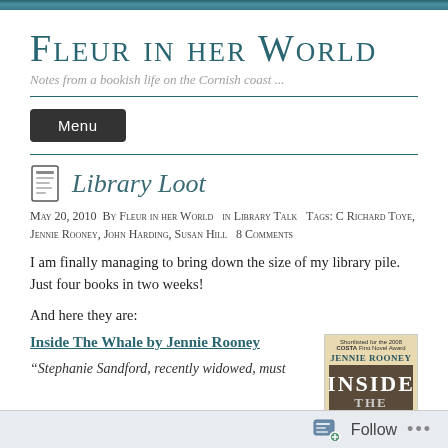Fleur in her World
Notes from a bookish life on the Cornish coast ...
Library Loot
May 20, 2010  By Fleur in her World   in Library Talk   Tags: C Richard Toye, Jennie Rooney, John Harding, Susan Hill   8 Comments
I am finally managing to bring down the size of my library pile. Just four books in two weeks!
And here they are:
Inside The Whale by Jennie Rooney
“Stephanie Sandford, recently widowed, must
[Figure (photo): Book cover of 'Inside The Whale' by Jennie Rooney, shortlisted for the 2008 Costa First Novel Award. Tan/cream colored cover with author name and title.]
Follow ...